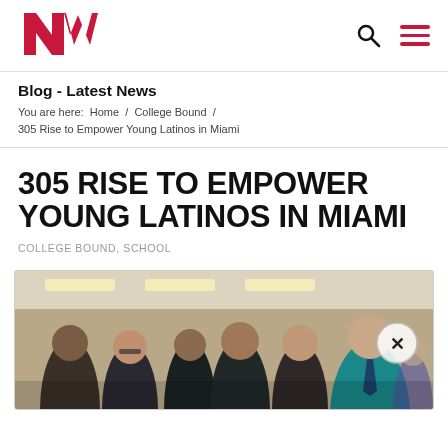[Figure (logo): NW magazine logo in pink/crimson]
Blog - Latest News
You are here:  Home  /  College Bound  /  305 Rise to Empower Young Latinos in Miami
305 RISE TO EMPOWER YOUNG LATINOS IN MIAMI
COLLEGE BOUND, SCHOOL
[Figure (photo): Group photo of young Latino students smiling together in a classroom or office setting]